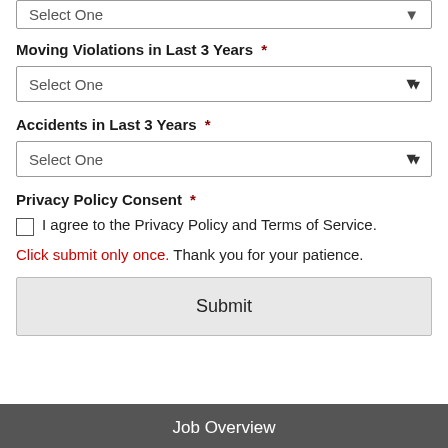Select One (dropdown at top, partially visible)
Moving Violations in Last 3 Years *
Select One (dropdown)
Accidents in Last 3 Years *
Select One (dropdown)
Privacy Policy Consent *
I agree to the Privacy Policy and Terms of Service.
Click submit only once. Thank you for your patience.
Submit
Job Overview